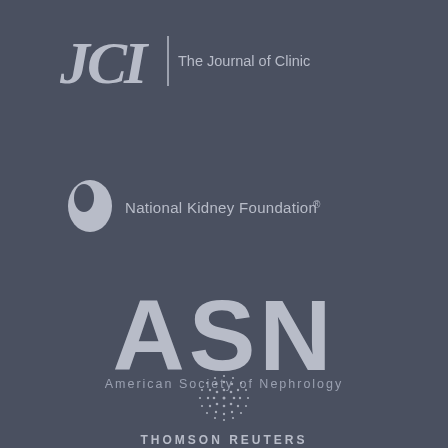[Figure (logo): JCI - The Journal of Clinical Investigation logo in gray on dark blue-gray background]
[Figure (logo): National Kidney Foundation logo with kidney bean shape icon and text in gray]
[Figure (logo): ASN - American Society of Nephrology large logo in gray bold text]
[Figure (logo): Thomson Reuters logo with globe/dot pattern icon and text in gray]